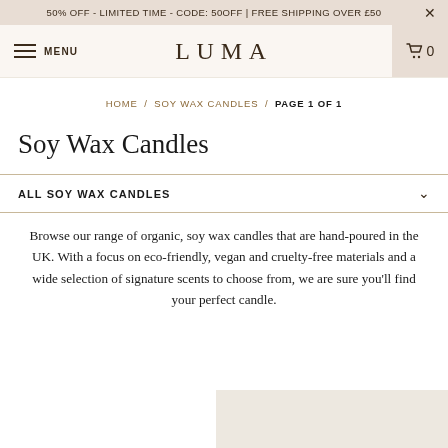50% OFF - LIMITED TIME - CODE: 50OFF | FREE SHIPPING OVER £50
[Figure (screenshot): LUMA website navigation bar with hamburger menu, LUMA logo centered, and cart icon with 0 items on right]
HOME / SOY WAX CANDLES / PAGE 1 OF 1
Soy Wax Candles
ALL SOY WAX CANDLES
Browse our range of organic, soy wax candles that are hand-poured in the UK. With a focus on eco-friendly, vegan and cruelty-free materials and a wide selection of signature scents to choose from, we are sure you'll find your perfect candle.
[Figure (photo): Partial product image area in light beige/cream color at bottom right]